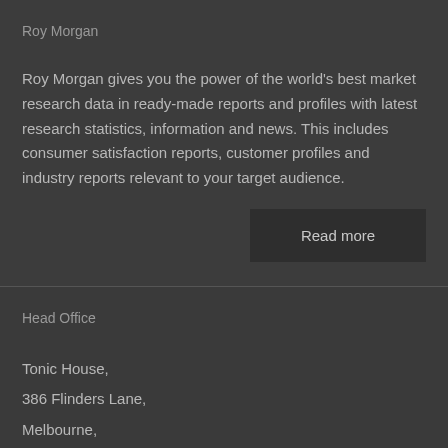Roy Morgan
Roy Morgan gives you the power of the world's best market research data in ready-made reports and profiles with latest research statistics, information and news. This includes consumer satisfaction reports, customer profiles and industry reports relevant to your target audience.
Read more
Head Office
Tonic House,
386 Flinders Lane,
Melbourne,
Australia, VIC 3000